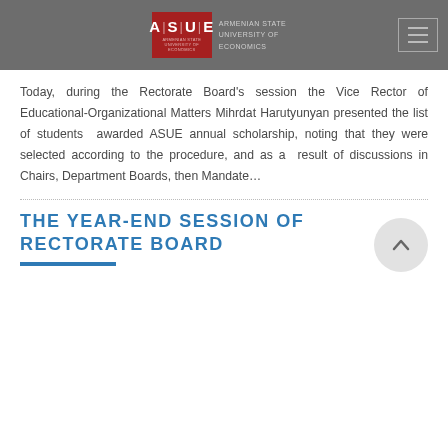ASUE — Armenian State University of Economics
Today, during the Rectorate Board's session the Vice Rector of Educational-Organizational Matters Mihrdat Harutyunyan presented the list of students  awarded ASUE annual scholarship, noting that they were selected according to the procedure, and as a  result of discussions in Chairs, Department Boards, then Mandate…
THE YEAR-END SESSION OF RECTORATE BOARD